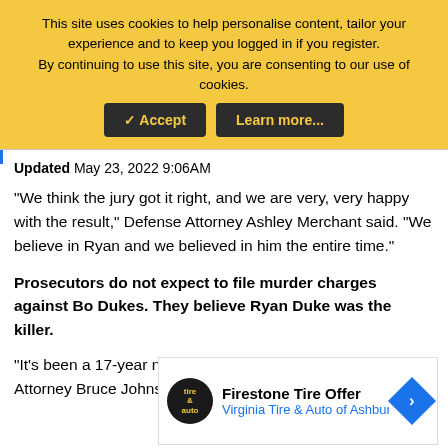This site uses cookies to help personalise content, tailor your experience and to keep you logged in if you register. By continuing to use this site, you are consenting to our use of cookies.
[Figure (other): Cookie consent banner with Accept and Learn more buttons on yellow/amber background]
Updated May 23, 2022 9:06AM
"We think the jury got it right, and we are very, very happy with the result," Defense Attorney Ashley Merchant said. "We believe in Ryan and we believed in him the entire time."
Prosecutors do not expect to file murder charges against Bo Dukes. They believe Ryan Duke was the killer.
"It's been a 17-year nightmare for them," Irwin County District Attorney Bruce Johnson said. "I know they are disappointed in
[Figure (other): Firestone Tire Offer advertisement for Virginia Tire & Auto of Ashburn with logo and blue arrow icon]